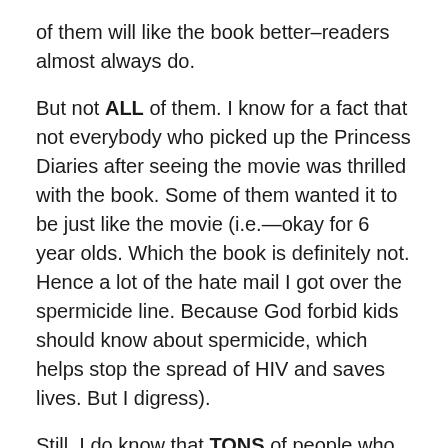of them will like the book better–readers almost always do.
But not ALL of them. I know for a fact that not everybody who picked up the Princess Diaries after seeing the movie was thrilled with the book. Some of them wanted it to be just like the movie (i.e.—okay for 6 year olds. Which the book is definitely not. Hence a lot of the hate mail I got over the spermicide line. Because God forbid kids should know about spermicide, which helps stop the spread of HIV and saves lives. But I digress).
Still, I do know that TONS of people who would never even READ a book–had never read one before in their LIVES–picked up a copy of Princess Diaries after seeing the movie, and loved it…and bought more books (many of which were by me).